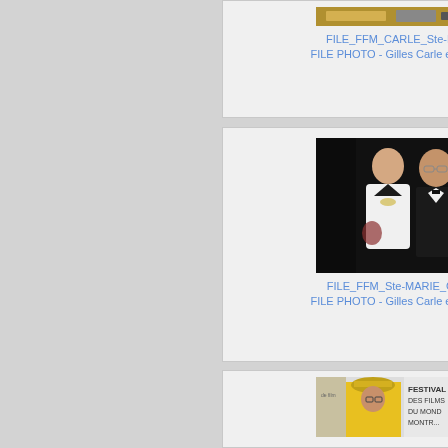[Figure (photo): Partial top of photo showing what appears to be equipment or set, cropped at top of card]
FILE_FFM_CARLE_Ste-Ma...jpg
FILE PHOTO - Gilles Carle et Chloee...
[Figure (photo): Photo of a woman in white dress and man in tuxedo/black tie at a formal event]
FILE_FFM_Ste-MARIE_CA...jpg
FILE PHOTO - Gilles Carle et Chloee...
[Figure (photo): Photo showing people with Festival des Films du Monde Montreal signage, person in yellow jacket with decorative hat]